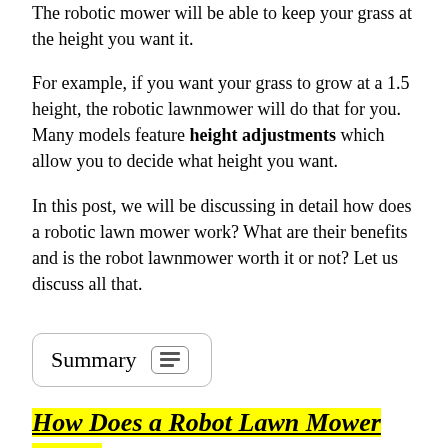The robotic mower will be able to keep your grass at the height you want it.
For example, if you want your grass to grow at a 1.5 height, the robotic lawnmower will do that for you. Many models feature height adjustments which allow you to decide what height you want.
In this post, we will be discussing in detail how does a robotic lawn mower work? What are their benefits and is the robot lawnmower worth it or not? Let us discuss all that.
Summary
How Does a Robot Lawn Mower Work?